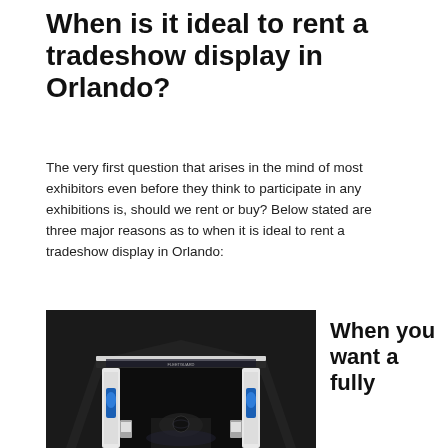When is it ideal to rent a tradeshow display in Orlando?
The very first question that arises in the mind of most exhibitors even before they think to participate in any exhibitions is, should we rent or buy? Below stated are three major reasons as to when it is ideal to rent a tradeshow display in Orlando:
[Figure (photo): A tradeshow booth with dark background, illuminated arch structure, white display pillars with blue branding, and a central exhibit area.]
When you want a fully